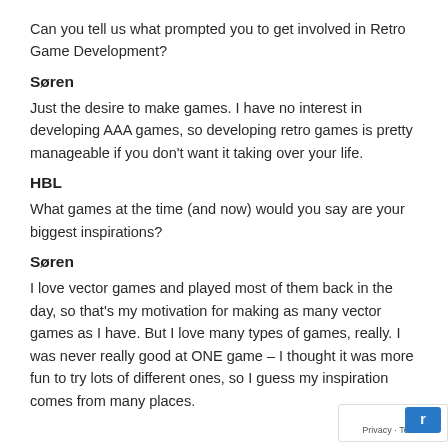Can you tell us what prompted you to get involved in Retro Game Development?
Søren
Just the desire to make games. I have no interest in developing AAA games, so developing retro games is pretty manageable if you don't want it taking over your life.
HBL
What games at the time (and now) would you say are your biggest inspirations?
Søren
I love vector games and played most of them back in the day, so that's my motivation for making as many vector games as I have. But I love many types of games, really. I was never really good at ONE game – I thought it was more fun to try lots of different ones, so I guess my inspiration comes from many places.